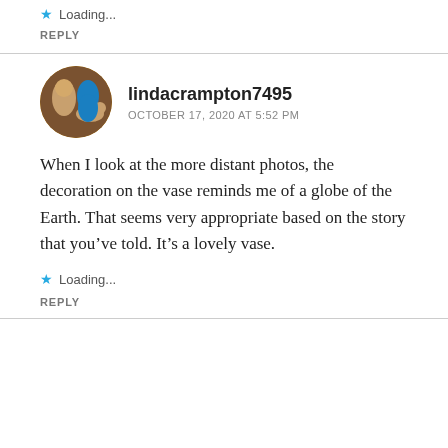Loading...
REPLY
lindacrampton7495
OCTOBER 17, 2020 AT 5:52 PM
When I look at the more distant photos, the decoration on the vase reminds me of a globe of the Earth. That seems very appropriate based on the story that you’ve told. It’s a lovely vase.
Loading...
REPLY